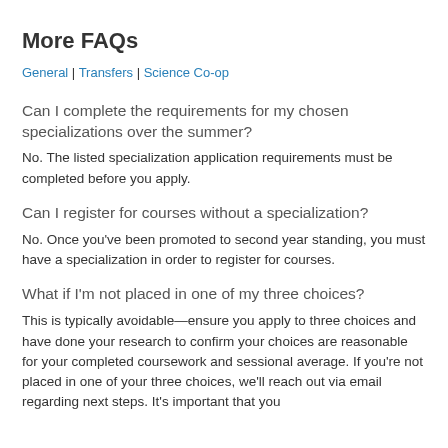More FAQs
General | Transfers | Science Co-op
Can I complete the requirements for my chosen specializations over the summer?
No. The listed specialization application requirements must be completed before you apply.
Can I register for courses without a specialization?
No. Once you've been promoted to second year standing, you must have a specialization in order to register for courses.
What if I'm not placed in one of my three choices?
This is typically avoidable—ensure you apply to three choices and have done your research to confirm your choices are reasonable for your completed coursework and sessional average. If you're not placed in one of your three choices, we'll reach out via email regarding next steps. It's important that you